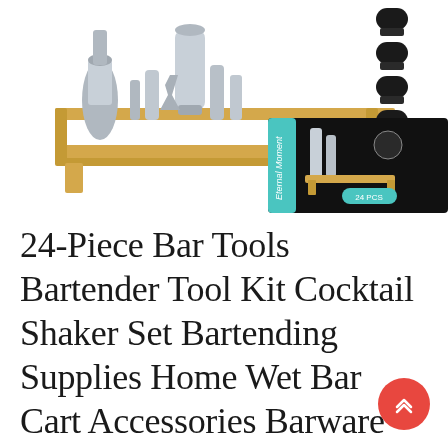[Figure (photo): Product photo of a 24-piece bartender tool kit with stainless steel cocktail shaker set on a bamboo stand, plus separate black bottle stoppers shown on the right side, and a product box (Eternal Moment brand) in the lower right of the image area.]
24-Piece Bar Tools Bartender Tool Kit Cocktail Shaker Set Bartending Supplies Home Wet Bar Cart Accessories Barware Essentials Items Drink Making Kit Alcohol Liquor Mixer Martini Set with St...